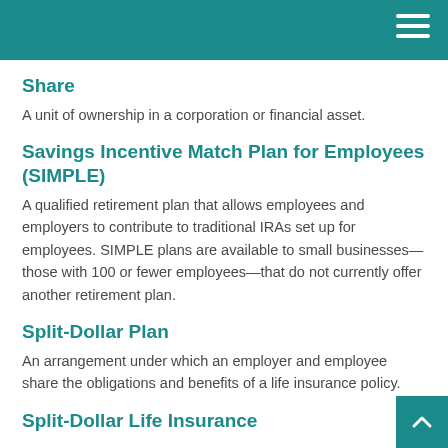Share
A unit of ownership in a corporation or financial asset.
Savings Incentive Match Plan for Employees (SIMPLE)
A qualified retirement plan that allows employees and employers to contribute to traditional IRAs set up for employees. SIMPLE plans are available to small businesses—those with 100 or fewer employees—that do not currently offer another retirement plan.
Split-Dollar Plan
An arrangement under which an employer and employee share the obligations and benefits of a life insurance policy.
Split-Dollar Life Insurance